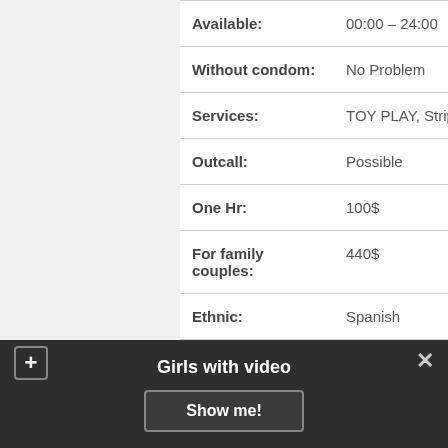| Field | Value |
| --- | --- |
| Available: | 00:00 – 24:00 |
| Without condom: | No Problem |
| Services: | TOY PLAY, Striptease, Humiliation (giving) |
| Outcall: | Possible |
| One Hr: | 100$ |
| For family couples: | 440$ |
| Ethnic: | Spanish |
|  | CONTACT |
Girls with video
Show me!